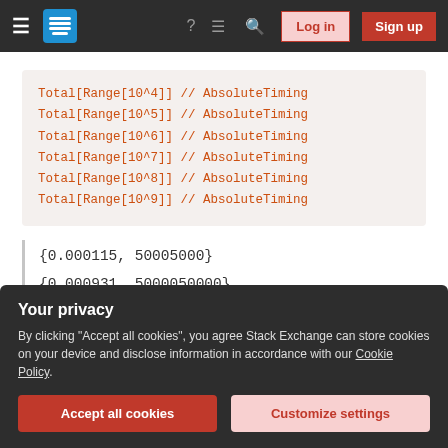Stack Exchange navigation bar with hamburger menu, logo, help, chat, search, Log in and Sign up buttons
Total[Range[10^4]] // AbsoluteTiming
Total[Range[10^5]] // AbsoluteTiming
Total[Range[10^6]] // AbsoluteTiming
Total[Range[10^7]] // AbsoluteTiming
Total[Range[10^8]] // AbsoluteTiming
Total[Range[10^9]] // AbsoluteTiming
{0.000115, 50005000}
{0.000931, 5000050000}
Your privacy
By clicking "Accept all cookies", you agree Stack Exchange can store cookies on your device and disclose information in accordance with our Cookie Policy.
Accept all cookies
Customize settings